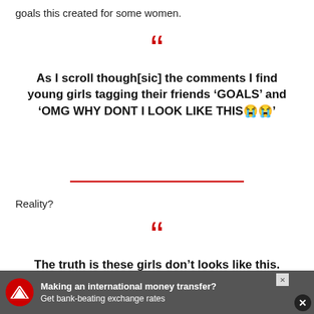goals this created for some women.
“”
As I scroll though[sic] the comments I find young girls tagging their friends ‘GOALS’ and ‘OMG WHY DONT I LOOK LIKE THIS😭😭’
Reality?
“”
The truth is these girls don’t looks like this. They look like you, like everyone.
Making an international money transfer? Get bank-beating exchange rates